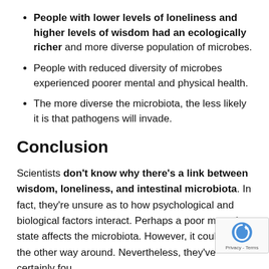People with lower levels of loneliness and higher levels of wisdom had an ecologically richer and more diverse population of microbes.
People with reduced diversity of microbes experienced poorer mental and physical health.
The more diverse the microbiota, the less likely it is that pathogens will invade.
Conclusion
Scientists don't know why there's a link between wisdom, loneliness, and intestinal microbiota. In fact, they're unsure as to how psychological and biological factors interact. Perhaps a poor mental state affects the microbiota. However, it could be the other way around. Nevertheless, they've certainly fou...